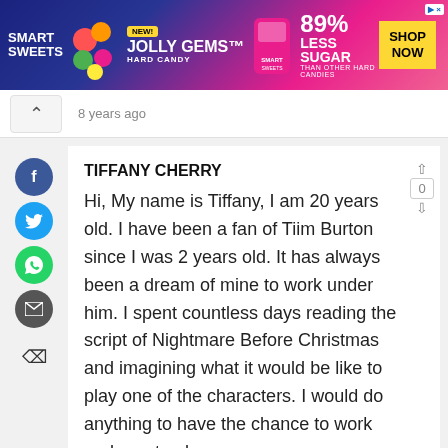[Figure (other): Smart Sweets Jolly Gems Hard Candy advertisement banner. Blue and pink background. Text reads: SMART SWEETS, NEW!, JOLLY GEMS HARD CANDY, 89% LESS SUGAR THAN OTHER HARD CANDIES, SHOP NOW]
8 years ago
TIFFANY CHERRY
Hi, My name is Tiffany, I am 20 years old. I have been a fan of Tiim Burton since I was 2 years old. It has always been a dream of mine to work under him. I spent countless days reading the script of Nightmare Before Christmas and imagining what it would be like to play one of the characters. I would do anything to have the chance to work under not only my
[Figure (other): Social share buttons sidebar: Facebook (blue circle with f), Twitter (blue circle with bird), WhatsApp (green circle with phone), Email (grey circle with envelope), and a reply/bookmark icon below.]